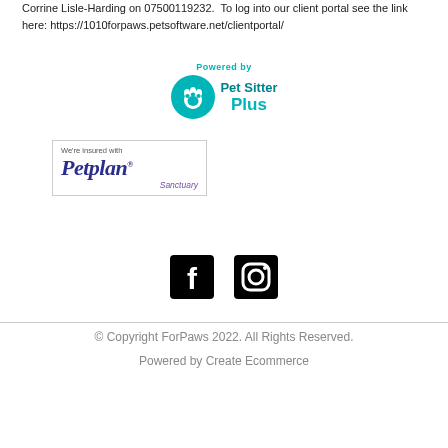Corrine Lisle-Harding on 07500119232.  To log into our client portal see the link here: https://1010forpaws.petsoftware.net/clientportal/
[Figure (logo): Powered by Pet Sitter Plus logo with teal circle containing a paw print and text 'Pet Sitter Plus']
[Figure (logo): We're insured with Petplan Sanctuary logo in a bordered box]
[Figure (logo): Facebook and Instagram social media icons in black]
© Copyright ForPaws 2022. All Rights Reserved.
Powered by Create Ecommerce